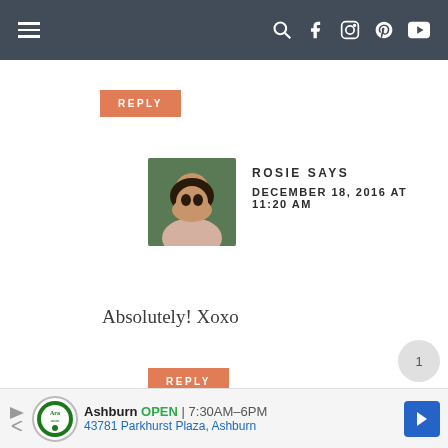Navigation bar with menu and social icons
REPLY
ROSIE SAYS
DECEMBER 18, 2016 AT 11:20 AM
Absolutely! Xoxo
REPLY
Ashburn  OPEN  7:30AM–6PM  43781 Parkhurst Plaza, Ashburn